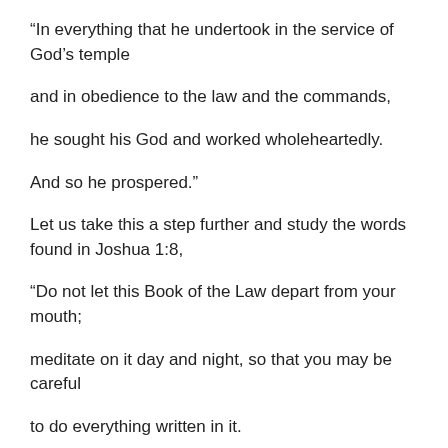“In everything that he undertook in the service of God’s temple
and in obedience to the law and the commands,
he sought his God and worked wholeheartedly.
And so he prospered.”
Let us take this a step further and study the words found in Joshua 1:8,
“Do not let this Book of the Law depart from your mouth;
meditate on it day and night, so that you may be careful
to do everything written in it.
Then you will be prosperous and successful.”